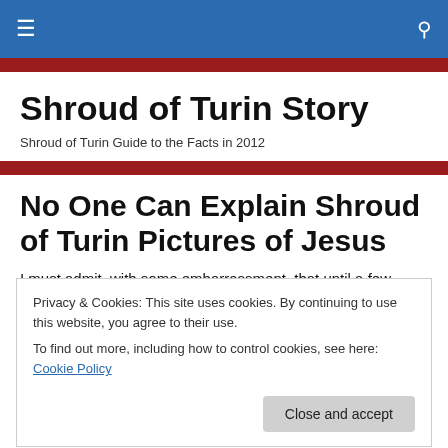≡  🔍
Shroud of Turin Story
Shroud of Turin Guide to the Facts in 2012
No One Can Explain Shroud of Turin Pictures of Jesus
I must admit, with some embarrassment, that until a few
Privacy & Cookies: This site uses cookies. By continuing to use this website, you agree to their use.
To find out more, including how to control cookies, see here: Cookie Policy
How ridiculous. I remember thinking. How can anyone